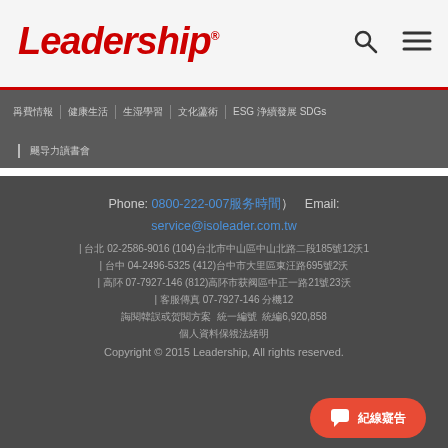Leadership
Navigation menu: 消費情報 | 健康生活 | 生涯學習 | 文化藝術 | ESG 永續發展 SDGs | 領導力讀書會
Phone: 0800-222-007(服務時間)   Email: service@isoleader.com.tw
| 台北 02-2586-9016 (104)台北市中山區中山北路二段185號12樓1
| 台中 04-2496-5325 (412)台中市大里區東榮路695號2樓
| 高雄 07-7927-146 (812)高雄市苓雅區中正一路21號23樓
| 客服傳真 07-7927-146 分機12
訂閱雜誌或贈閱方案 統一編號  統編6,920,858
個人資料保護法聲明
Copyright © 2015 Leadership, All rights reserved.